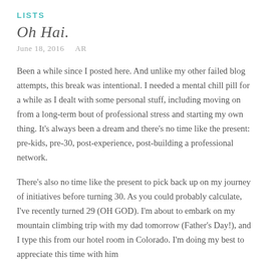LISTS
Oh Hai.
June 18, 2016   AR
Been a while since I posted here. And unlike my other failed blog attempts, this break was intentional. I needed a mental chill pill for a while as I dealt with some personal stuff, including moving on from a long-term bout of professional stress and starting my own thing. It’s always been a dream and there’s no time like the present: pre-kids, pre-30, post-experience, post-building a professional network.
There’s also no time like the present to pick back up on my journey of initiatives before turning 30. As you could probably calculate, I’ve recently turned 29 (OH GOD). I’m about to embark on my mountain climbing trip with my dad tomorrow (Father’s Day!), and I type this from our hotel room in Colorado. I’m doing my best to appreciate this time with him